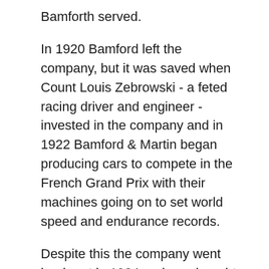Bamforth served.
In 1920 Bamford left the company, but it was saved when Count Louis Zebrowski - a feted racing driver and engineer - invested in the company and in 1922 Bamford & Martin began producing cars to compete in the French Grand Prix with their machines going on to set world speed and endurance records.
Despite this the company went bankrupt in 1924 and was bought by Lady Charnwood, but despite this backing the company failed again in 1925 which caused Lionel Martin to leave.
A number of investors kept the company alive including Lady Charnwood, Bill Renwick and Bert Bertelli; renaming it as Astone Martin Motors. Renwick and Bertelli had worked together for a number of years previously and were able to use the reputation Aston Martin already had to begin the production of a new